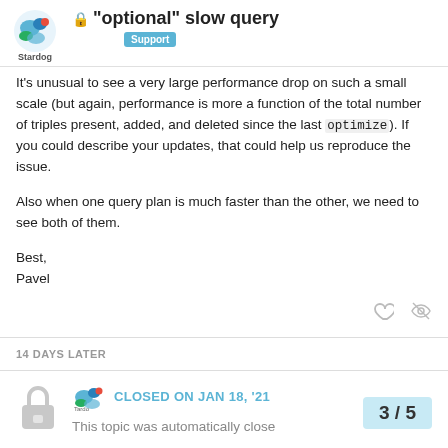"optional" slow query — Support
It's unusual to see a very large performance drop on such a small scale (but again, performance is more a function of the total number of triples present, added, and deleted since the last optimize). If you could describe your updates, that could help us reproduce the issue.
Also when one query plan is much faster than the other, we need to see both of them.
Best,
Pavel
14 DAYS LATER
CLOSED ON JAN 18, '21
This topic was automatically close